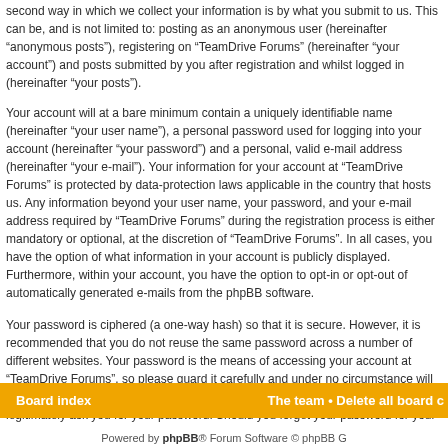second way in which we collect your information is by what you submit to us. This can be, and is not limited to: posting as an anonymous user (hereinafter “anonymous posts”), registering on “TeamDrive Forums” (hereinafter “your account”) and posts submitted by you after registration and whilst logged in (hereinafter “your posts”).
Your account will at a bare minimum contain a uniquely identifiable name (hereinafter “your user name”), a personal password used for logging into your account (hereinafter “your password”) and a personal, valid e-mail address (hereinafter “your e-mail”). Your information for your account at “TeamDrive Forums” is protected by data-protection laws applicable in the country that hosts us. Any information beyond your user name, your password, and your e-mail address required by “TeamDrive Forums” during the registration process is either mandatory or optional, at the discretion of “TeamDrive Forums”. In all cases, you have the option of what information in your account is publicly displayed. Furthermore, within your account, you have the option to opt-in or opt-out of automatically generated e-mails from the phpBB software.
Your password is ciphered (a one-way hash) so that it is secure. However, it is recommended that you do not reuse the same password across a number of different websites. Your password is the means of accessing your account at “TeamDrive Forums”, so please guard it carefully and under no circumstance will anyone affiliated with “TeamDrive Forums”, phpBB or another 3rd party, legitimately ask you for your password. Should you forget your password for your account, you can use the “I forgot my password” feature provided by the phpBB software. This process will ask you to submit your user name and your e-mail, then the phpBB software will generate a new password to reclaim your account.
Back to login screen
Board index   The team • Delete all board cookies • All times are UTC
Powered by phpBB® Forum Software © phpBB Group